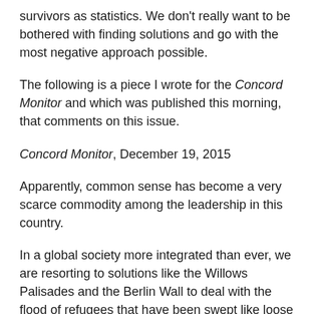survivors as statistics. We don't really want to be bothered with finding solutions and go with the most negative approach possible.
The following is a piece I wrote for the Concord Monitor and which was published this morning, that comments on this issue.
Concord Monitor, December 19, 2015
Apparently, common sense has become a very scarce commodity among the leadership in this country.
In a global society more integrated than ever, we are resorting to solutions like the Willows Palisades and the Berlin Wall to deal with the flood of refugees that have been swept like loose flotsam into camps too small to sustain them.
Our country has been feckless in dealing with the cancer called ISIS that has been growing in the Middle East and now, as the side effects spread across the world, we appear